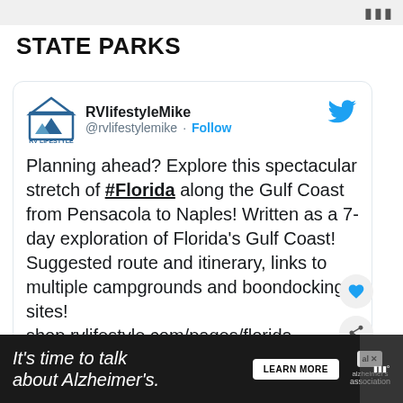STATE PARKS
[Figure (screenshot): Embedded tweet from RVlifestyleMike (@rvlifestylemike) with Follow button and Twitter bird logo. Tweet text: 'Planning ahead? Explore this spectacular stretch of #Florida along the Gulf Coast from Pensacola to Naples! Written as a 7-day exploration of Florida's Gulf Coast! Suggested route and itinerary, links to multiple campgrounds and boondocking sites! shop.rvlifestyle.com/pages/florida-...' with like and share action buttons, and a nature image strip at the bottom with a 'WHAT'S NEXT → The Emerald Coast- One ...' overlay.]
Planning ahead? Explore this spectacular stretch of #Florida along the Gulf Coast from Pensacola to Naples! Written as a 7-day exploration of Florida's Gulf Coast! Suggested route and itinerary, links to multiple campgrounds and boondocking sites! shop.rvlifestyle.com/pages/florida-...
It's time to talk about Alzheimer's. LEARN MORE